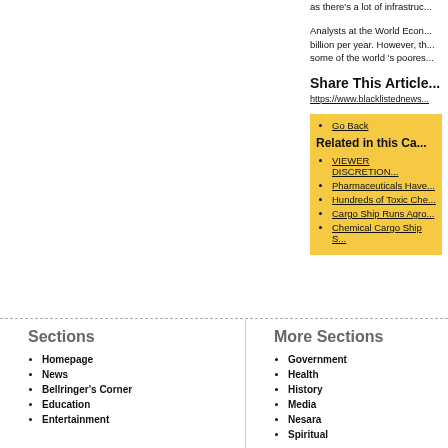as there's a lot of infrastruc...
Analysts at the World Econ... billion per year. However, th... some of the world 's poores...
Share This Article...
https://www.blacklistednews...
Go Back
Related in this Ca...
VIEWER DISCRETION...
Pharmaceuticals Have...
Hundreds of Toxic Che...
Cargo Ship Runs Agro...
Chemical Cargo Ship S...
Sections
Homepage
News
Bellringer's Corner
Education
Entertainment
More Sections
Government
Health
History
Media
Nesara
Spiritual